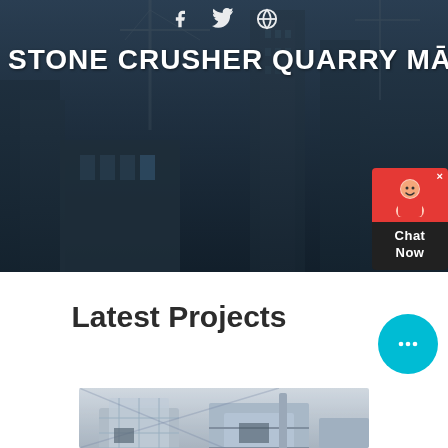[Figure (photo): Hero banner with dark overlay showing construction site with cranes and buildings in background]
STONE CRUSHER QUARRY MACH
HOME // PRODUCTS // STONE CRUSHER QUARRY MACHINERY 5R3EE
[Figure (infographic): Chat Now widget with red top section showing avatar and dark bottom section with Chat Now text]
Latest Projects
[Figure (photo): Stone crusher quarry machinery equipment in industrial setting]
[Figure (infographic): Cyan chat bubble button with ellipsis icon]